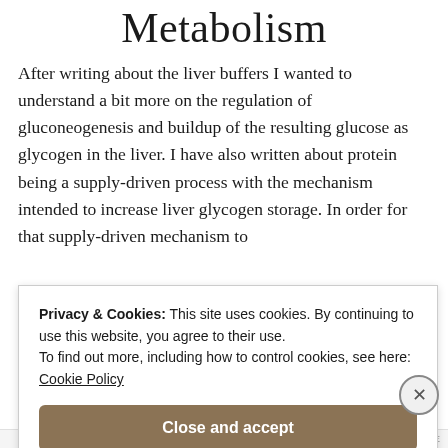Metabolism
After writing about the liver buffers I wanted to understand a bit more on the regulation of gluconeogenesis and buildup of the resulting glucose as glycogen in the liver. I have also written about protein being a supply-driven process with the mechanism intended to increase liver glycogen storage. In order for that supply-driven mechanism to
Privacy & Cookies: This site uses cookies. By continuing to use this website, you agree to their use.
To find out more, including how to control cookies, see here:
Cookie Policy
Close and accept